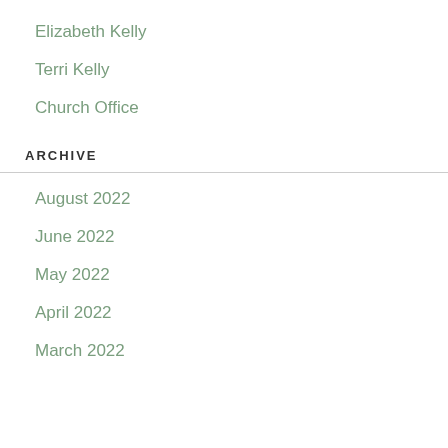Elizabeth Kelly
Terri Kelly
Church Office
ARCHIVE
August 2022
June 2022
May 2022
April 2022
March 2022